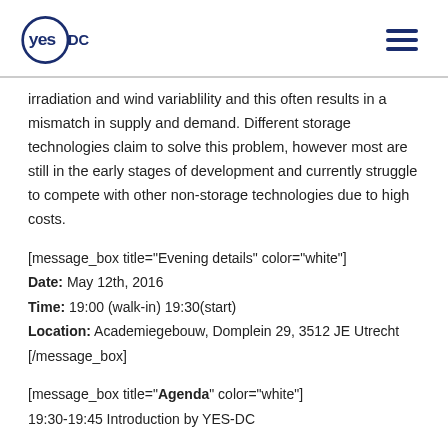YES-DC
irradiation and wind variablility and this often results in a mismatch in supply and demand. Different storage technologies claim to solve this problem, however most are still in the early stages of development and currently struggle to compete with other non-storage technologies due to high costs.
[message_box title="Evening details" color="white"]
Date: May 12th, 2016
Time: 19:00 (walk-in) 19:30(start)
Location: Academiegebouw, Domplein 29, 3512 JE Utrecht
[/message_box]
[message_box title="Agenda" color="white"]
19:30-19:45 Introduction by YES-DC